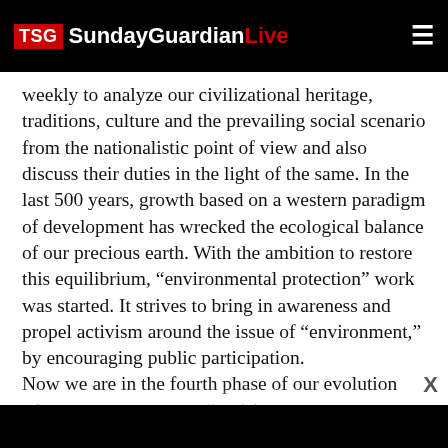TSG SundayGuardianLive
weekly to analyze our civilizational heritage, traditions, culture and the prevailing social scenario from the nationalistic point of view and also discuss their duties in the light of the same. In the last 500 years, growth based on a western paradigm of development has wrecked the ecological balance of our precious earth. With the ambition to restore this equilibrium, “environmental protection” work was started. It strives to bring in awareness and propel activism around the issue of “environment,” by encouraging public participation. Now we are in the fourth phase of our evolution where we expect every “aspiring young…